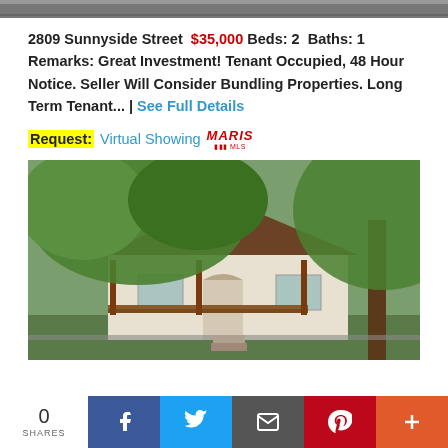[Figure (photo): Top strip of a previous listing photo, cropped]
2809 Sunnyside Street $35,000 Beds: 2 Baths: 1 Remarks: Great Investment! Tenant Occupied, 48 Hour Notice. Seller Will Consider Bundling Properties. Long Term Tenant... | See Full Details
Request: Virtual Showing MARIS
[Figure (photo): Exterior photo of a small single-story house with white siding, brown wood porch railing, front door with arched window, large tree in foreground, chain-link fence at bottom]
0 SHARES | Facebook | Twitter | Email | Pinterest | More